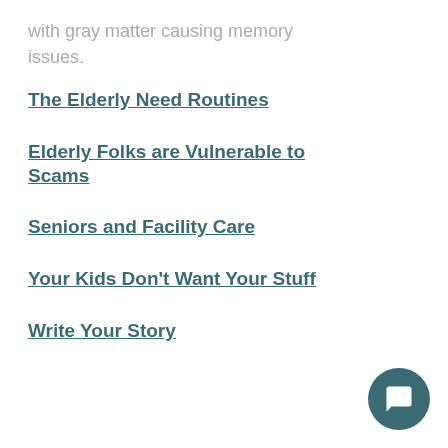with gray matter causing memory issues.
The Elderly Need Routines
Elderly Folks are Vulnerable to Scams
Seniors and Facility Care
Your Kids Don't Want Your Stuff
Write Your Story